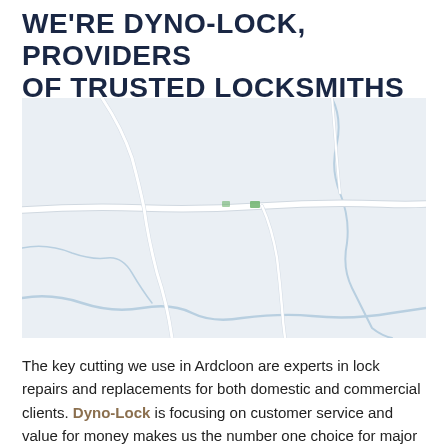WE'RE DYNO-LOCK, PROVIDERS OF TRUSTED LOCKSMITHS
[Figure (map): A light grey road map showing the Ardcloon area with white roads and light blue river/water features running through a pale grey landscape.]
The key cutting we use in Ardcloon are experts in lock repairs and replacements for both domestic and commercial clients. Dyno-Lock is focusing on customer service and value for money makes us the number one choice for major